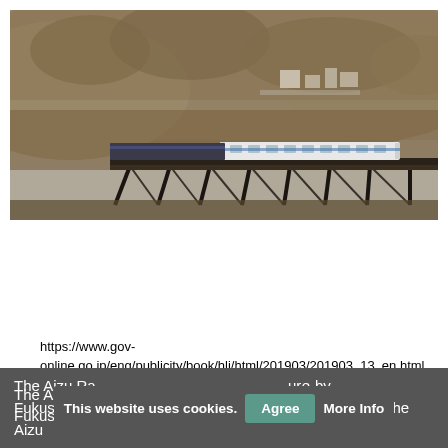[Figure (photo): A train crossing a dark iron trestle bridge with a mountain hillside covered in autumn-colored trees in the background. A town is visible in the distance.]
https://www.gov-online.go.jp/eng/publicity/book/hlj/html/201903/201903_13_en.html
The Aizu Railway, a private railway run by Fukushima Prefecture, seventeen local municipalities in the Aizu